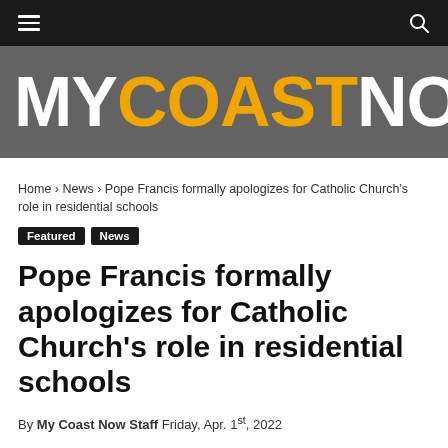MyCoastNow — navigation bar
[Figure (logo): MYCOASTNOW logo — MY in white, COAST in orange, NOW in white, on dark grey background]
Home › News › Pope Francis formally apologizes for Catholic Church's role in residential schools
Featured  News
Pope Francis formally apologizes for Catholic Church's role in residential schools
By My Coast Now Staff Friday, Apr. 1st, 2022